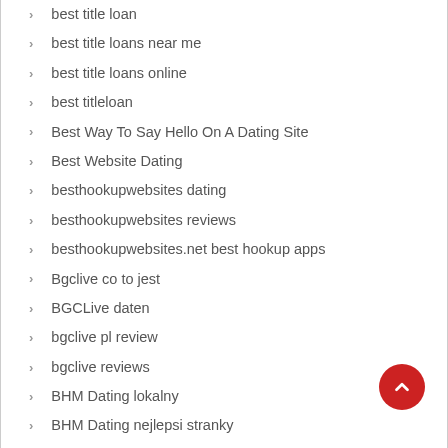best title loan
best title loans near me
best title loans online
best titleloan
Best Way To Say Hello On A Dating Site
Best Website Dating
besthookupwebsites dating
besthookupwebsites reviews
besthookupwebsites.net best hookup apps
Bgclive co to jest
BGCLive daten
bgclive pl review
bgclive reviews
BHM Dating lokalny
BHM Dating nejlepsi stranky